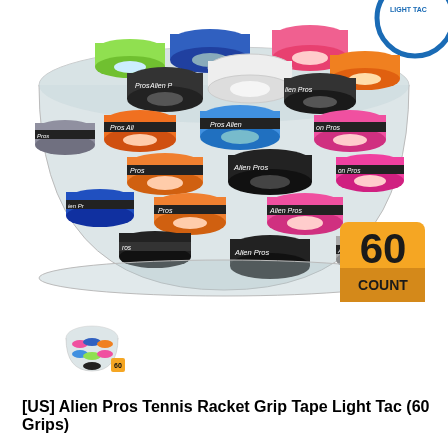[Figure (photo): A clear cylindrical container filled with 60 colorful Alien Pros tennis racket grip tape rolls in various colors including blue, green, white, orange, pink, black, and others. Each roll has a black band labeled 'Alien Pros'. An orange badge in the lower right of the image shows '60 COUNT'. A partial blue circular logo appears in the top right corner.]
[Figure (photo): Small thumbnail image of the same Alien Pros grip tape container product, shown as a small preview image at bottom left.]
[US] Alien Pros Tennis Racket Grip Tape Light Tac (60 Grips)